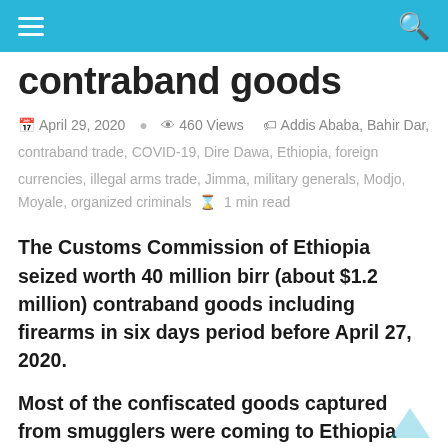≡  [search icon]
contraband goods
April 29, 2020  460 Views  Addis Ababa, Bahir Dar, contraband trade, COVID-19, Dire Dawa, Ethiopia, foreign currencies, illegal arms trade, Jimma, military generals, Modjo, Moyale, organized criminals  1 min read
The Customs Commission of Ethiopia seized worth 40 million birr (about $1.2 million) contraband goods including firearms in six days period before April 27, 2020.
Most of the confiscated goods captured from smugglers were coming to Ethiopia from neighboring countries, while such as coffee were also captured leaving the country illegally. Some of the incoming smuggled goods captured include firearms, bullets, food items,